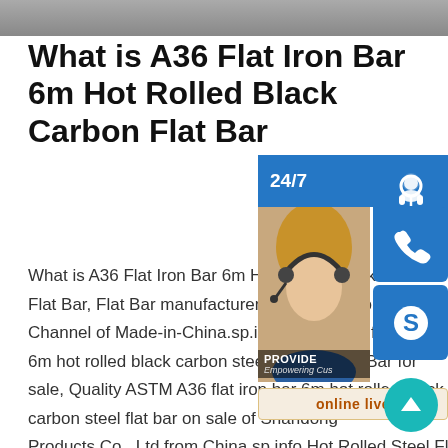[Figure (photo): Partial header image at top of page, grey/dark background]
What is A36 Flat Iron Bar 6m Hot Rolled Black Carbon Flat Bar
What is A36 Flat Iron Bar 6m Hot Rolled Black Carbon Flat Bar, Flat Bar manufacturers & suppliers on Video Channel of Made-in-China.sp.info ASTM A36 flat iron bar 6m hot rolled black carbon steel Carbon Flat Bar for sale, Quality ASTM A36 flat iron bar 6m hot rolled black carbon steel flat bar on sale of Shandong Products Co., Ltd from China.sp.info Hot Rolled Steel Flat Bar Coremark MetalsA36 hot rolled steel flat bars, stock, are an excellent candidate for most processing techniques. A36 hot rolled steel flat bars have a rough, blue-grey finish, dull rounded edges and have inexact
[Figure (infographic): Customer support overlay widget panel on right side: 24/7 label, headset icon, phone icon, Skype icon, contact photo of woman with headset, PROVIDE / Empowering Customers text, online live button, and teal scroll-to-top arrow button]